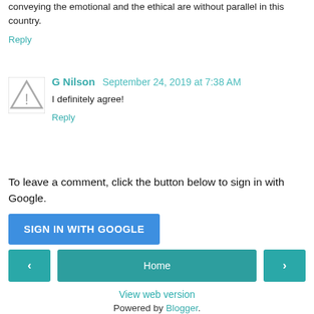conveying the emotional and the ethical are without parallel in this country.
Reply
G Nilson  September 24, 2019 at 7:38 AM
I definitely agree!
Reply
To leave a comment, click the button below to sign in with Google.
SIGN IN WITH GOOGLE
Home
View web version
Powered by Blogger.